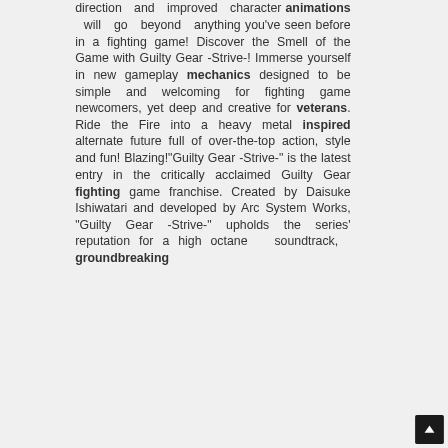direction and improved character animations will go beyond anything you've seen before in a fighting game! Discover the Smell of the Game with Guilty Gear -Strive-! Immerse yourself in new gameplay mechanics designed to be simple and welcoming for fighting game newcomers, yet deep and creative for veterans. Ride the Fire into a heavy metal inspired alternate future full of over-the-top action, style and fun! Blazing!"Guilty Gear -Strive-" is the latest entry in the critically acclaimed Guilty Gear fighting game franchise. Created by Daisuke Ishiwatari and developed by Arc System Works, "Guilty Gear -Strive-" upholds the series' reputation for a high octane soundtrack, groundbreaking